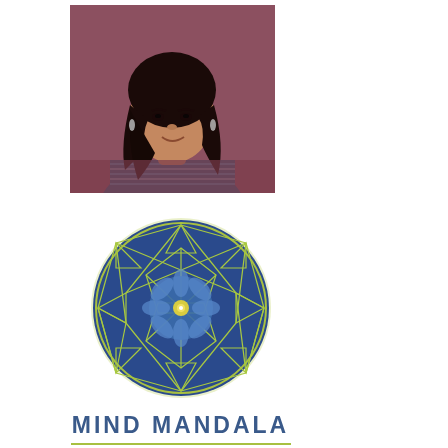[Figure (photo): Portrait photo of a woman with long dark hair wearing a blue striped top, against a purple/mauve background]
[Figure (logo): Mind Mandala logo: a blue circle containing a geometric mandala pattern with triangles and a flower in the center, outlined with light green lines, with the text MIND MANDALA and Integrated Psychological Services below]